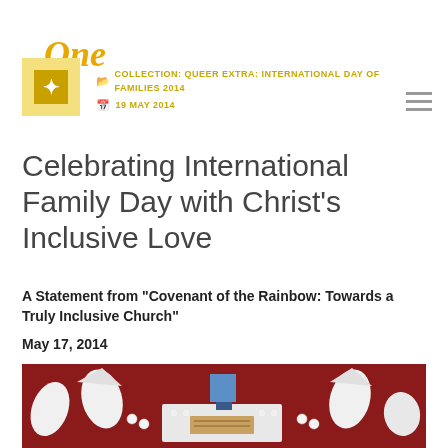One
COLLECTION: QUEER EXTRA: INTERNATIONAL DAY OF FAMILIES 2014 | 19 MAY 2014
Celebrating International Family Day with Christ's Inclusive Love
A Statement from "Covenant of the Rainbow: Towards a Truly Inclusive Church"
May 17, 2014
[Figure (photo): A table arrangement on a red cloth with small candles and paper house-shaped figures arranged around a central white mat, with a blue origami figure in the center.]